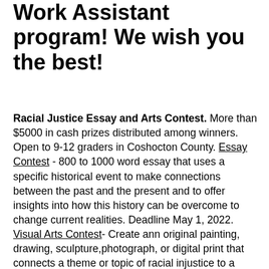Work Assistant program! We wish you the best!
Racial Justice Essay and Arts Contest. More than $5000 in cash prizes distributed among winners. Open to 9-12 graders in Coshocton County. Essay Contest - 800 to 1000 word essay that uses a specific historical event to make connections between the past and the present and to offer insights into how this history can be overcome to change current realities. Deadline May 1, 2022. Visual Arts Contest- Create ann original painting, drawing, sculpture,photograph, or digital print that connects a theme or topic of racial injustice to a specific historical event. Submissions must be accompanied by a brief artist's statement. Deadline March 11, 2022. For more